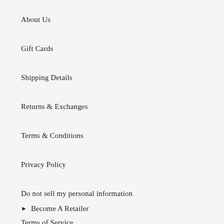About Us
Gift Cards
Shipping Details
Returns & Exchanges
Terms & Conditions
Privacy Policy
Do not sell my personal information
► Become A Retailer
Terms of Service